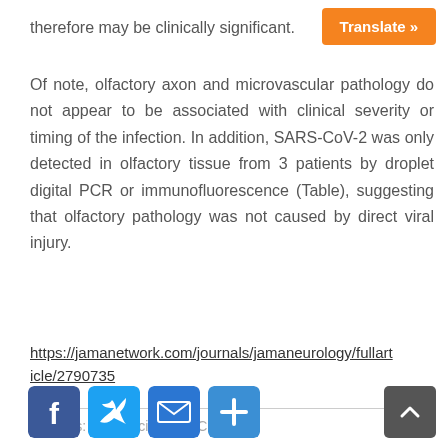therefore may be clinically significant.
Of note, olfactory axon and microvascular pathology do not appear to be associated with clinical severity or timing of the infection. In addition, SARS-CoV-2 was only detected in olfactory tissue from 3 patients by droplet digital PCR or immunofluorescence (Table), suggesting that olfactory pathology was not caused by direct viral injury.
https://jamanetwork.com/journals/jamaneurology/fullarticle/2790735
Créditos: Comité científico Covid